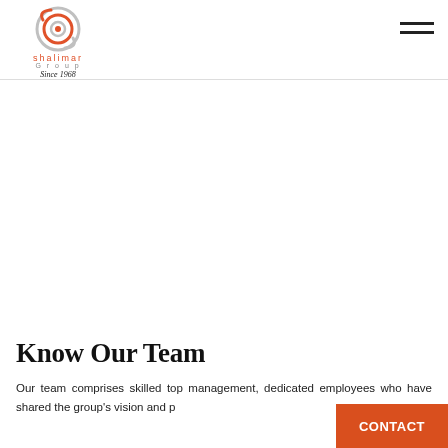[Figure (logo): Shalimar Group logo with circular swirl icon in orange/grey, text 'shalimar' in orange, 'Group' in grey, 'Since 1968' in italic script]
[Figure (other): Hamburger menu icon (three horizontal lines) in top right corner]
Know Our Team
Our team comprises skilled top management, dedicated employees who have shared the group's vision and p